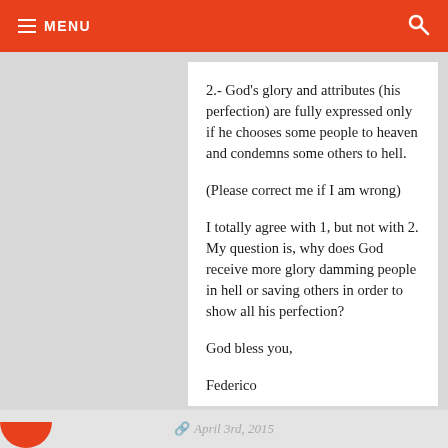≡ MENU
2.- God's glory and attributes (his perfection) are fully expressed only if he chooses some people to heaven and condemns some others to hell.
(Please correct me if I am wrong)
I totally agree with 1, but not with 2. My question is, why does God receive more glory damming people in hell or saving others in order to show all his perfection?
God bless you,
Federico
April 3rd, 2015